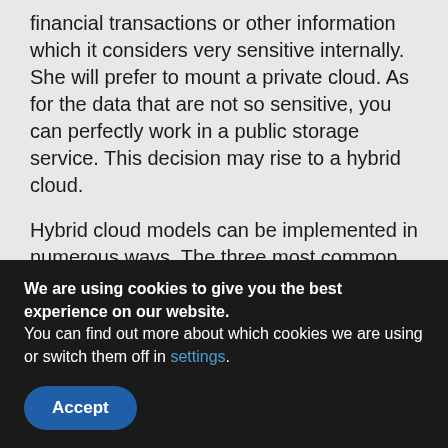financial transactions or other information which it considers very sensitive internally. She will prefer to mount a private cloud. As for the data that are not so sensitive, you can perfectly work in a public storage service. This decision may rise to a hybrid cloud.
Hybrid cloud models can be implemented in numerous ways. The three most common are:
Separating cloud providers to provide both private and public services as an integrated service;
Individual cloud providers offering a full hybrid package;
[partially visible]
We are using cookies to give you the best experience on our website.
You can find out more about which cookies we are using or switch them off in settings.
Accept